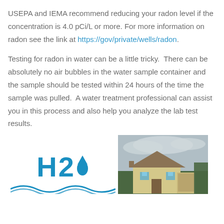USEPA and IEMA recommend reducing your radon level if the concentration is 4.0 pCi/L or more. For more information on radon see the link at https://gov/private/wells/radon.
Testing for radon in water can be a little tricky. There can be absolutely no air bubbles in the water sample container and the sample should be tested within 24 hours of the time the sample was pulled. A water treatment professional can assist you in this process and also help you analyze the lab test results.
[Figure (logo): H2O logo with water drop and wave lines in blue]
[Figure (photo): Photo of a house with trees in the background under a cloudy sky]